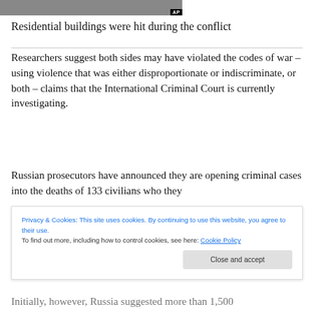[Figure (photo): Partial view of a photograph showing conflict/war scene, with an AP watermark badge in the lower right corner]
Residential buildings were hit during the conflict
Researchers suggest both sides may have violated the codes of war – using violence that was either disproportionate or indiscriminate, or both – claims that the International Criminal Court is currently investigating.
Russian prosecutors have announced they are opening criminal cases into the deaths of 133 civilians who they
Privacy & Cookies: This site uses cookies. By continuing to use this website, you agree to their use. To find out more, including how to control cookies, see here: Cookie Policy
Initially, however, Russia suggested more than 1,500